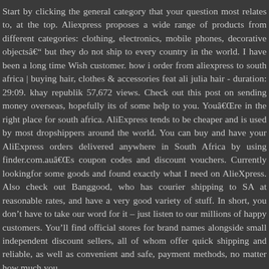Start by clicking the general category that your question most relates to, at the top. Aliexpress proposes a wide range of products from different categories: clothing, electronics, mobile phones, decorative objectsâ¦ but they do not ship to every country in the world. I have been a long time Wish customer. how i order from aliexpress to south africa | buying hair, clothes & accessories feat ali julia hair - duration: 29:09. khay republik 57,672 views. Check out this post on sending money overseas, hopefully its of some help to you. Youâre in the right place for south africa. AliExpress tends to be cheaper and is used by most dropshippers around the world. You can buy and have your AliExpress orders delivered anywhere in South Africa by using finder.com.auâs coupon codes and discount vouchers. Currently lookingfor some goods and found exactly what I need on AlieXpress. Also check out Banggood, who has courier shipping to SA at reasonable rates, and have a very good variety of stuff. In short, you don't have to take our word for it – just listen to our millions of happy customers. You'll find official stores for brand names alongside small independent discount sellers, all of whom offer quick shipping and reliable, as well as convenient and safe, payment methods, no matter how much you